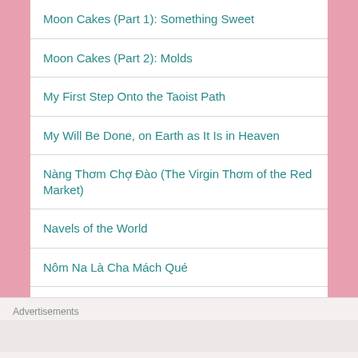Moon Cakes (Part 1): Something Sweet
Moon Cakes (Part 2): Molds
My First Step Onto the Taoist Path
My Will Be Done, on Earth as It Is in Heaven
Nàng Thơm Chợ Đào (The Virgin Thơm of the Red Market)
Navels of the World
Nôm Na Là Cha Mách Qué
Nonsensical Words of a Wordsmith
Advertisements